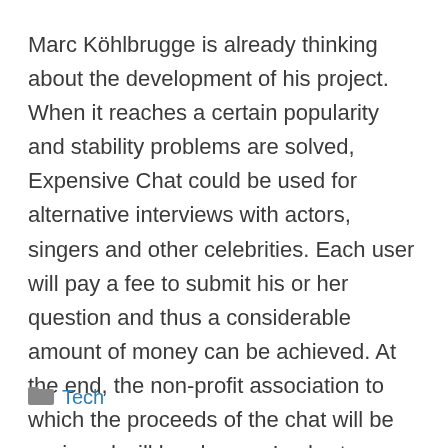Marc Köhlbrugge is already thinking about the development of his project. When it reaches a certain popularity and stability problems are solved, Expensive Chat could be used for alternative interviews with actors, singers and other celebrities. Each user will pay a fee to submit his or her question and thus a considerable amount of money can be achieved. At the end, the non-profit association to which the proceeds of the chat will be assigned will be chosen. In short, Expensive Chat starts as a fun social experiment, but soon it could become a useful platform for social purposes.
Tech